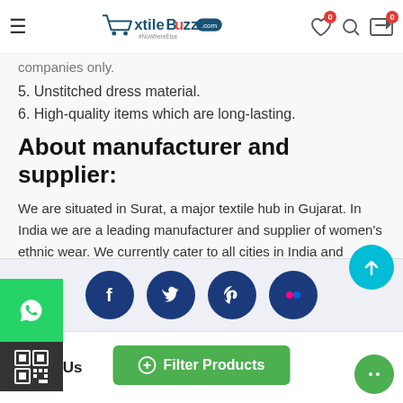XtileBuzz.com
companies only.
5. Unstitched dress material.
6. High-quality items which are long-lasting.
About manufacturer and supplier:
We are situated in Surat, a major textile hub in Gujarat. In India we are a leading manufacturer and supplier of women's ethnic wear. We currently cater to all cities in India and various international countries. Our aim is to deliver to many more countries around the world in the near future.
[Figure (infographic): Social media icons row: Facebook, Twitter, Pinterest, Flickr]
About Us
[Figure (other): Filter Products button]